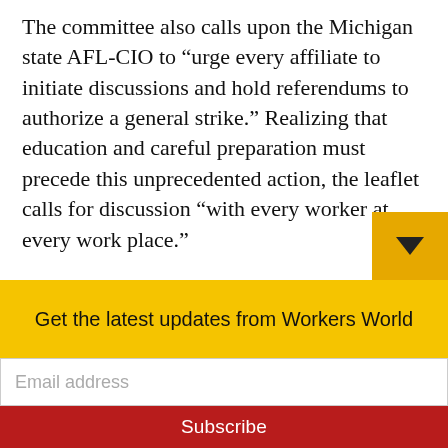The committee also calls upon the Michigan state AFL-CIO to “urge every affiliate to initiate discussions and hold referendums to authorize a general strike.” Realizing that education and careful preparation must precede this unprecedented action, the leaflet calls for discussion “with every worker at every work place.”
The leaflet points out that “we can be sure that the entire crowd of Wall Street bankers and corporate bosses, including GM, Ford, Chrysler and the billionaire Koch brothers,
Get the latest updates from Workers World
Email address
Subscribe